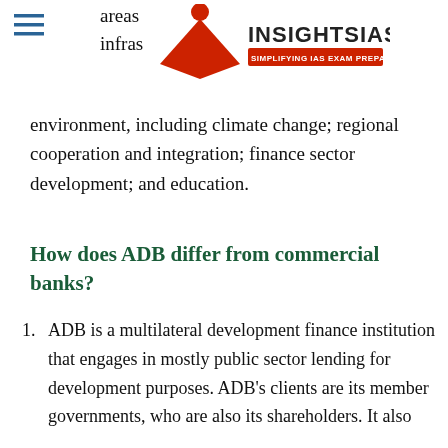[Figure (logo): INSIGHTS IAS logo with red open book icon and text 'SIMPLIFYING IAS EXAM PREPARATION']
areas infras environment, including climate change; regional cooperation and integration; finance sector development; and education.
How does ADB differ from commercial banks?
ADB is a multilateral development finance institution that engages in mostly public sector lending for development purposes. ADB's clients are its member governments, who are also its shareholders. It also